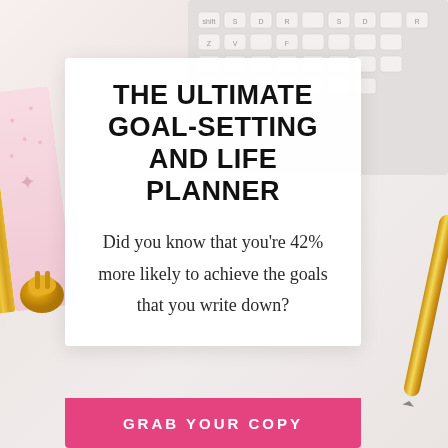[Figure (photo): Flatlay photo background with white keyboard top right, pink star-print planner and gold spine left side, gold binder clip bottom left, gold pen bottom right, on a white/light grey surface]
THE ULTIMATE GOAL-SETTING AND LIFE PLANNER
Did you know that you're 42% more likely to achieve the goals that you write down?
GRAB YOUR COPY